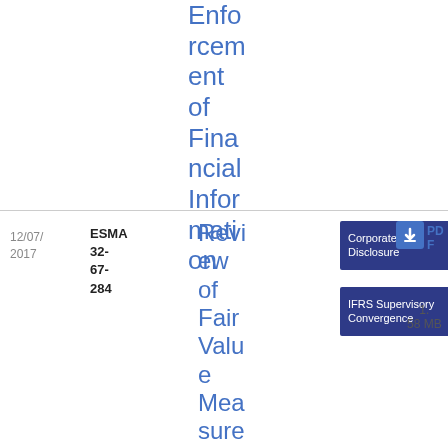Enforcement of Financial Information
| Date | Reference | Title | Tags | Format | Size |
| --- | --- | --- | --- | --- | --- |
| 12/07/2017 | ESMA 32-67-284 | Review of Fair Value Measurement in the IFRS | Corporate Disclosure; IFRS Supervisory Convergence | PDF | 1.58 MB |